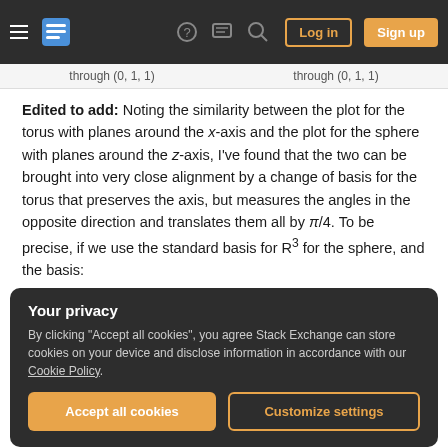Stack Exchange navigation bar with hamburger menu, logo, question mark, speech bubble, search icons, Log in and Sign up buttons
through (0, 1, 1)    through (0, 1, 1)
Edited to add: Noting the similarity between the plot for the torus with planes around the x-axis and the plot for the sphere with planes around the z-axis, I've found that the two can be brought into very close alignment by a change of basis for the torus that preserves the axis, but measures the angles in the opposite direction and translates them all by π/4. To be precise, if we use the standard basis for R³ for the sphere, and the basis:
Your privacy
By clicking "Accept all cookies", you agree Stack Exchange can store cookies on your device and disclose information in accordance with our Cookie Policy.
Accept all cookies    Customize settings
respective bases, then these angles are very